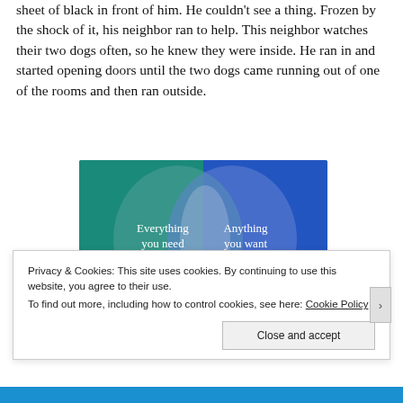sheet of black in front of him. He couldn't see a thing. Frozen by the shock of it, his neighbor ran to help. This neighbor watches their two dogs often, so he knew they were inside. He ran in and started opening doors until the two dogs came running out of one of the rooms and then ran outside.
[Figure (infographic): Venn diagram advertisement with teal/blue background showing two overlapping circles. Left circle on teal background reads 'Everything you need', right circle on blue background reads 'Anything you want'. A pink button is partially visible at the bottom.]
Privacy & Cookies: This site uses cookies. By continuing to use this website, you agree to their use.
To find out more, including how to control cookies, see here: Cookie Policy
Close and accept